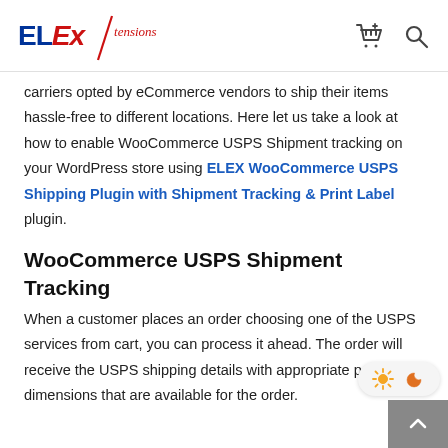ELExtensions
carriers opted by eCommerce vendors to ship their items hassle-free to different locations. Here let us take a look at how to enable WooCommerce USPS Shipment tracking on your WordPress store using ELEX WooCommerce USPS Shipping Plugin with Shipment Tracking & Print Label plugin.
WooCommerce USPS Shipment Tracking
When a customer places an order choosing one of the USPS services from cart, you can process it ahead. The order will receive the USPS shipping details with appropriate packaging dimensions that are available for the order.